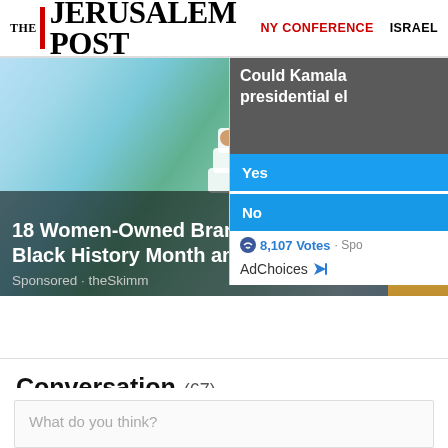THE JERUSALEM POST | NY CONFERENCE | ISRAEL
[Figure (screenshot): Advertisement image showing smiley face cups with text '18 Women-Owned Brands to Su[pport] Black History Month and Beyo[nd]' - Sponsored by theSkimm]
[Figure (photo): Partial photo of a person (Kamala) with golden/yellow background, partially cropped]
[Figure (infographic): Poll widget asking 'Could Kamala [win the] presidential el[ection]?' with Yes and No buttons and 8,107 votes. AdChoices label.]
Conversation (67)
What do you think?